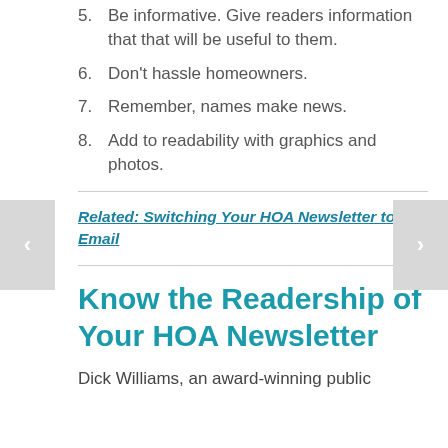5. Be informative. Give readers information that that will be useful to them.
6. Don't hassle homeowners.
7. Remember, names make news.
8. Add to readability with graphics and photos.
Related: Switching Your HOA Newsletter to Email
Know the Readership of Your HOA Newsletter
Dick Williams, an award-winning public